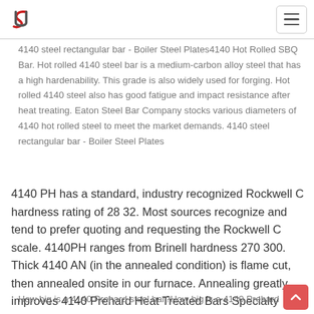Logo and navigation menu
4140 steel rectangular bar - Boiler Steel Plates4140 Hot Rolled SBQ Bar. Hot rolled 4140 steel bar is a medium-carbon alloy steel that has a high hardenability. This grade is also widely used for forging. Hot rolled 4140 steel also has good fatigue and impact resistance after heat treating. Eaton Steel Bar Company stocks various diameters of 4140 hot rolled steel to meet the market demands. 4140 steel rectangular bar - Boiler Steel Plates
4140 PH has a standard, industry recognized Rockwell C hardness rating of 28 32. Most sources recognize and tend to prefer quoting and requesting the Rockwell C scale. 4140PH ranges from Brinell hardness 270 300. Thick 4140 AN (in the annealed condition) is flame cut, then annealed onsite in our furnace. Annealing greatly improves 4140 Prehard Heat Treated Bars Specialty Steel Co
How big is a 4140 Prehard steel bar?How big is a 4140 Prehard